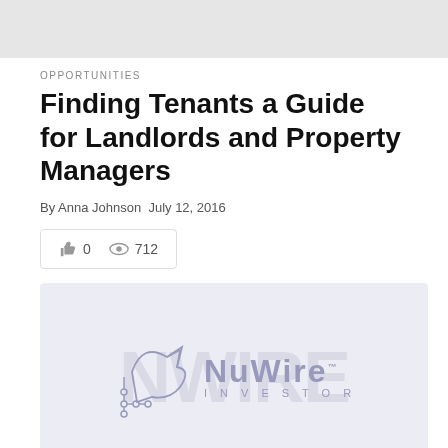[Figure (photo): Grayscale header image at top of page, blurred/muted appearance]
OPPORTUNITIES
Finding Tenants a Guide for Landlords and Property Managers
By Anna Johnson July 12, 2016
[Figure (other): Engagement widget showing thumbs-up count 0 and eye/views count 712]
[Figure (logo): NuWire Investor logo on light purple/grey background with circuit-board hand icon on the left and NuWire Investor text on the right]